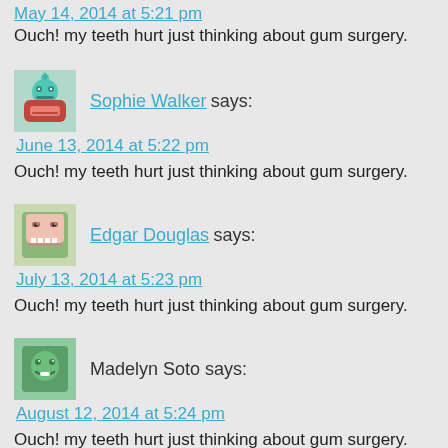May 14, 2014 at 5:21 pm
Ouch! my teeth hurt just thinking about gum surgery.
Sophie Walker says:
June 13, 2014 at 5:22 pm
Ouch! my teeth hurt just thinking about gum surgery.
Edgar Douglas says:
July 13, 2014 at 5:23 pm
Ouch! my teeth hurt just thinking about gum surgery.
Madelyn Soto says:
August 12, 2014 at 5:24 pm
Ouch! my teeth hurt just thinking about gum surgery.
Liz Barber says: